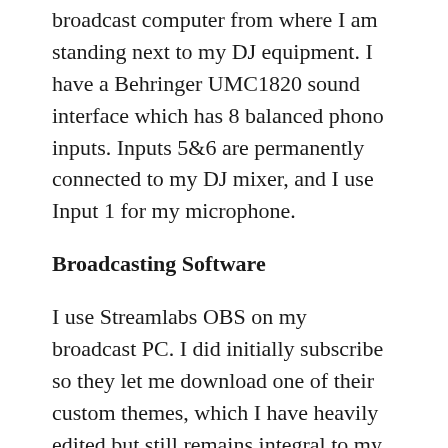broadcast computer from where I am standing next to my DJ equipment. I have a Behringer UMC1820 sound interface which has 8 balanced phono inputs. Inputs 5&6 are permanently connected to my DJ mixer, and I use Input 1 for my microphone.
Broadcasting Software
I use Streamlabs OBS on my broadcast PC. I did initially subscribe so they let me download one of their custom themes, which I have heavily edited but still remains integral to my setup. For some reason even though my subscription has lapsed that has not made any difference to whether I can continue using this